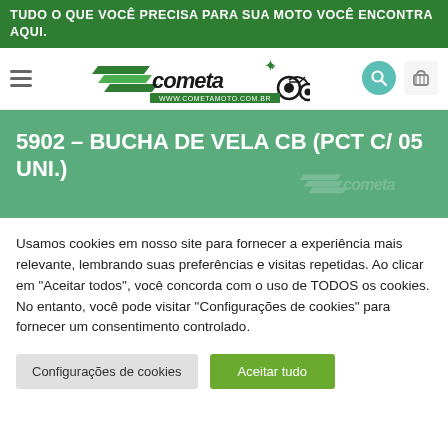TUDO O QUE VOCÊ PRECISA PARA SUA MOTO VOCÊ ENCONTRA AQUI.
[Figure (logo): Cometa Moto logo with motorcycle graphic and website URL www.cometamoto.com.br]
5902 – BUCHA DE VELA CB (PCT C/ 05 UNI.)
Usamos cookies em nosso site para fornecer a experiência mais relevante, lembrando suas preferências e visitas repetidas. Ao clicar em "Aceitar todos", você concorda com o uso de TODOS os cookies. No entanto, você pode visitar "Configurações de cookies" para fornecer um consentimento controlado.
Configurações de cookies | Aceitar tudo